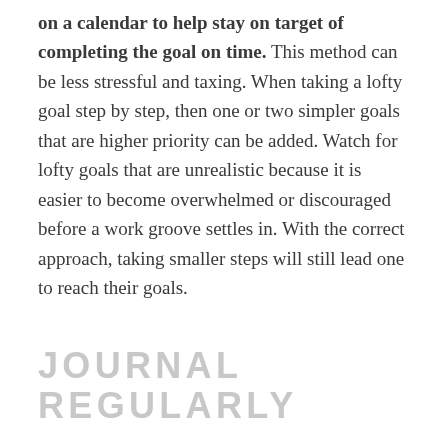on a calendar to help stay on target of completing the goal on time. This method can be less stressful and taxing. When taking a lofty goal step by step, then one or two simpler goals that are higher priority can be added. Watch for lofty goals that are unrealistic because it is easier to become overwhelmed or discouraged before a work groove settles in. With the correct approach, taking smaller steps will still lead one to reach their goals.
JOURNAL REGULARLY
Keeping a journal aids mental well-being. Journaling allows for time to unwind and relax. Jotting things down, instead of hoarding them inside of the mind can help decompress. We are freed-up from remembering things if they are written down, and writing to express the sense of...